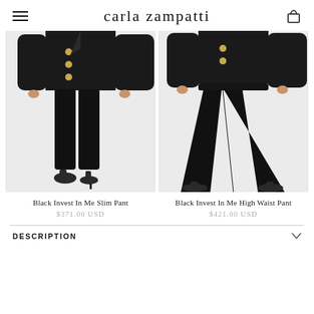carla zampatti
[Figure (photo): Fashion product photo of Black Invest In Me Slim Pant - model wearing slim black trousers with black blazer with gold buttons]
Black Invest In Me Slim Pant
$371.00 USD
[Figure (photo): Fashion product photo of Black Invest In Me High Waist Pant - model wearing wide-leg high waist black trousers with black blazer]
Black Invest In Me High Waist Pant
$421.00 USD
DESCRIPTION